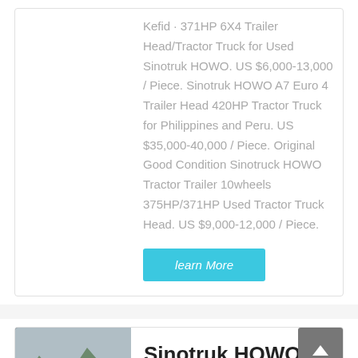Kefid · 371HP 6X4 Trailer Head/Tractor Truck for Used Sinotruk HOWO. US $6,000-13,000 / Piece. Sinotruk HOWO A7 Euro 4 Trailer Head 420HP Tractor Truck for Philippines and Peru. US $35,000-40,000 / Piece. Original Good Condition Sinotruck HOWO Tractor Trailer 10wheels 375HP/371HP Used Tractor Truck Head. US $9,000-12,000 / Piece.
learn More
[Figure (photo): Sinotruk HOWO trucks parked in front of mountains]
Sinotruk HOWO 10